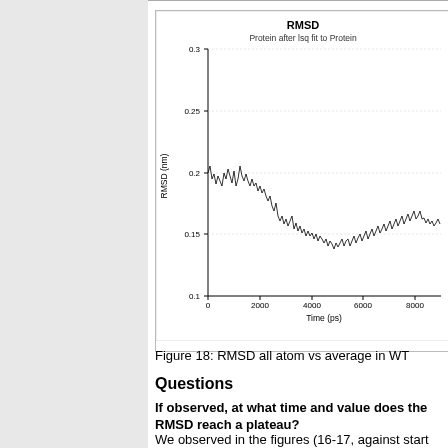[Figure (continuous-plot): Line plot of RMSD (nm) vs Time (ps) for Protein after lsq fit to Protein. Y-axis ranges from 0.1 to 0.30 nm. X-axis ranges from 0 to ~8000+ ps. The RMSD starts near 0.2 nm, briefly spikes, then stabilizes around 0.15 nm for the remainder of the simulation.]
Figure 18: RMSD all atom vs average in WT
Questions
If observed, at what time and value does the RMSD reach a plateau?
We observed in the figures (16-17, against start structure) that the plateau is reached after